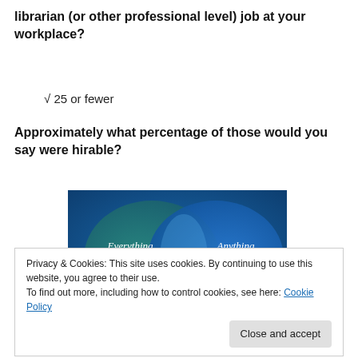librarian (or other professional level) job at your workplace?
√ 25 or fewer
Approximately what percentage of those would you say were hirable?
[Figure (infographic): Venn diagram-style graphic with two overlapping circles on a blue/teal background. Left circle labeled 'Everything you need', right circle labeled 'Anything you want'.]
Privacy & Cookies: This site uses cookies. By continuing to use this website, you agree to their use.
To find out more, including how to control cookies, see here: Cookie Policy